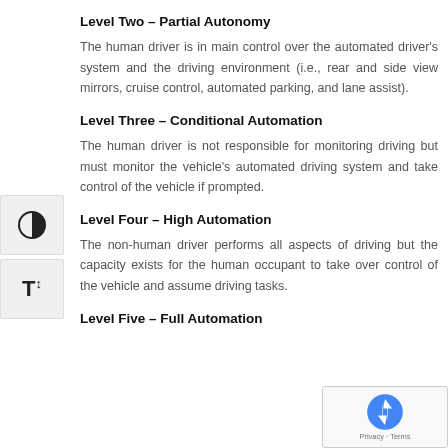Level Two – Partial Autonomy
The human driver is in main control over the automated driver's system and the driving environment (i.e., rear and side view mirrors, cruise control, automated parking, and lane assist).
Level Three – Conditional Automation
The human driver is not responsible for monitoring driving but must monitor the vehicle's automated driving system and take control of the vehicle if prompted.
Level Four – High Automation
The non-human driver performs all aspects of driving but the capacity exists for the human occupant to take over control of the vehicle and assume driving tasks.
Level Five – Full Automation
[Figure (logo): reCAPTCHA logo with Privacy and Terms text overlay in bottom right corner]